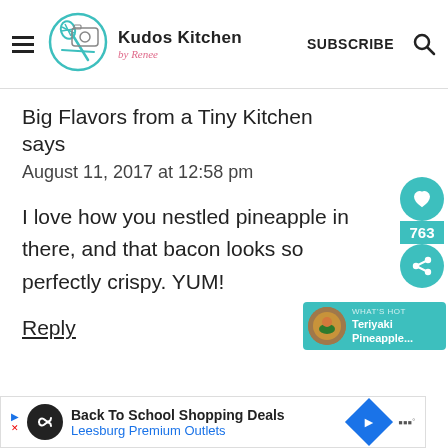Kudos Kitchen by Renee — SUBSCRIBE
Big Flavors from a Tiny Kitchen says
August 11, 2017 at 12:58 pm
I love how you nestled pineapple in there, and that bacon looks so perfectly crispy. YUM!
Reply
[Figure (screenshot): Teriyaki Pineapple promo widget with teal background]
[Figure (screenshot): Advertisement banner: Back To School Shopping Deals, Leesburg Premium Outlets]